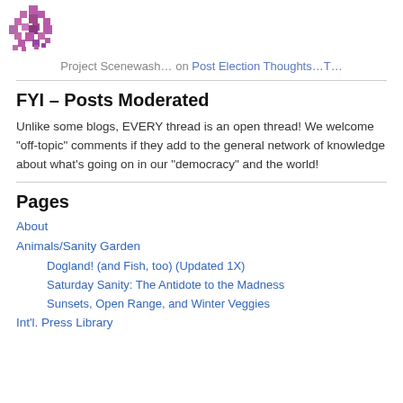[Figure (logo): Purple/pink pixelated star/snowflake logo]
Project Scenewash… on Post Election Thoughts…T…
FYI – Posts Moderated
Unlike some blogs, EVERY thread is an open thread! We welcome "off-topic" comments if they add to the general network of knowledge about what's going on in our "democracy" and the world!
Pages
About
Animals/Sanity Garden
Dogland! (and Fish, too) (Updated 1X)
Saturday Sanity: The Antidote to the Madness
Sunsets, Open Range, and Winter Veggies
Int'l. Press Library